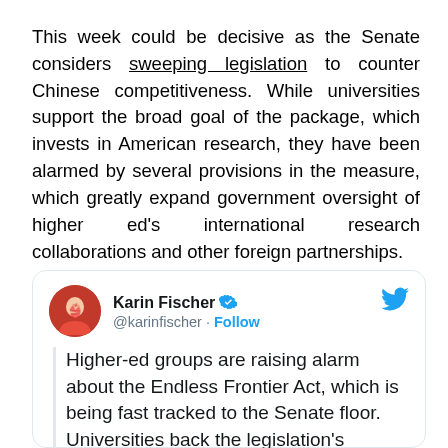This week could be decisive as the Senate considers sweeping legislation to counter Chinese competitiveness. While universities support the broad goal of the package, which invests in American research, they have been alarmed by several provisions in the measure, which greatly expand government oversight of higher ed's international research collaborations and other foreign partnerships.
[Figure (screenshot): Embedded tweet from @karinfischer (Karin Fischer, verified) with Twitter bird logo. Tweet text: 'Higher-ed groups are raising alarm about the Endless Frontier Act, which is being fast tracked to the Senate floor. Universities back the legislation's underlying goal, to [continues below]']